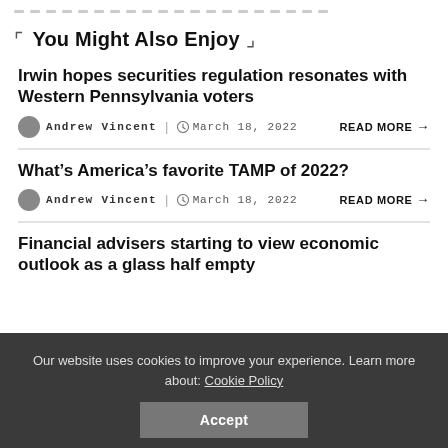You Might Also Enjoy
Irwin hopes securities regulation resonates with Western Pennsylvania voters
Andrew Vincent | March 18, 2022  READ MORE →
What's America's favorite TAMP of 2022?
Andrew Vincent | March 18, 2022  READ MORE →
Financial advisers starting to view economic outlook as a glass half empty
Our website uses cookies to improve your experience. Learn more about: Cookie Policy  Accept